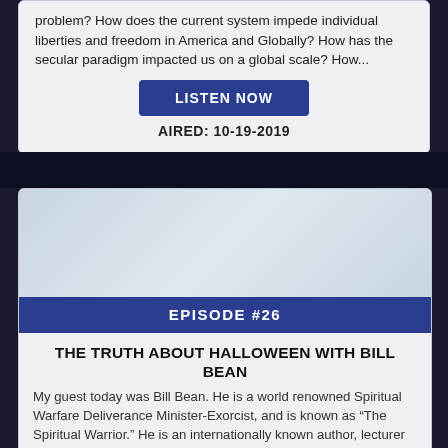problem? How does the current system impede individual liberties and freedom in America and Globally? How has the secular paradigm impacted us on a global scale? How...
LISTEN NOW
AIRED: 10-19-2019
[Figure (photo): Dark background image with planet/sphere visual]
EPISODE #26
THE TRUTH ABOUT HALLOWEEN WITH BILL BEAN
My guest today was Bill Bean. He is a world renowned Spiritual Warfare Deliverance Minister-Exorcist, and is known as “The Spiritual Warrior.” He is an internationally known author, lecturer and supernatural expert as well. His book